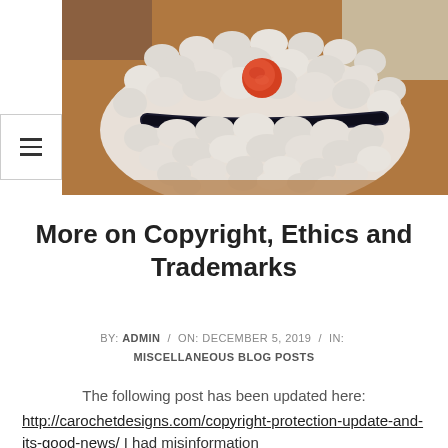[Figure (photo): Photo of a white crocheted item with a black stripe and an orange/red circular accent, sitting on a wooden table surface. The crochet work is chunky and textured.]
More on Copyright, Ethics and Trademarks
BY: ADMIN / ON: DECEMBER 5, 2019 / IN: MISCELLANEOUS BLOG POSTS
The following post has been updated here: http://carochetdesigns.com/copyright-protection-update-and-its-good-news/ I had misinformation